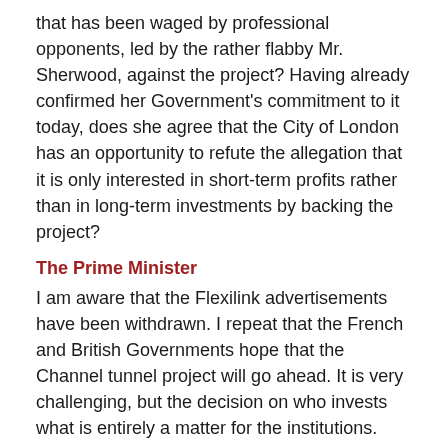that has been waged by professional opponents, led by the rather flabby Mr. Sherwood, against the project? Having already confirmed her Government's commitment to it today, does she agree that the City of London has an opportunity to refute the allegation that it is only interested in short-term profits rather than in long-term investments by backing the project?
The Prime Minister
I am aware that the Flexilink advertisements have been withdrawn. I repeat that the French and British Governments hope that the Channel tunnel project will go ahead. It is very challenging, but the decision on who invests what is entirely a matter for the institutions. There will be no Government money. It is a challenging project and the French and British Governments continue to support it.
Q6. Mr. Clelland
asked the Prime Minister if she will list her official engagements for Tuesday 28 October.